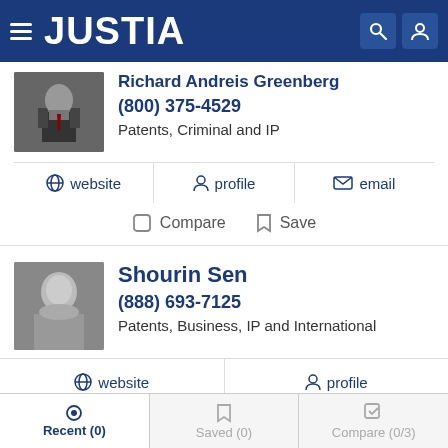JUSTIA
(800) 375-4529
Patents, Criminal and IP
website | profile | email
Compare | Save
Shourin Sen
(888) 693-7125
Patents, Business, IP and International
website | profile
Compare | Save
Recent (0) | Saved (0) | Compare (0/3)